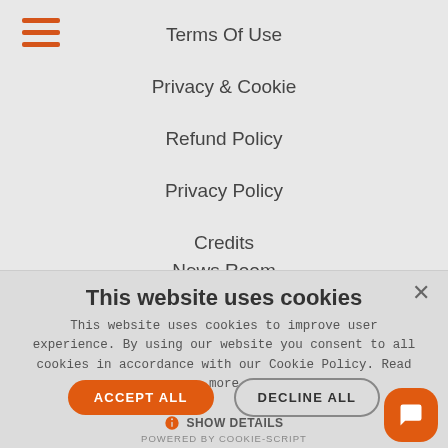[Figure (screenshot): Hamburger menu icon with three horizontal orange lines]
Terms Of Use
Privacy & Cookie
Refund Policy
Privacy Policy
Credits
News Room
facebook
instagram
This website uses cookies
This website uses cookies to improve user experience. By using our website you consent to all cookies in accordance with our Cookie Policy. Read more
ACCEPT ALL
DECLINE ALL
SHOW DETAILS
POWERED BY COOKIE-SCRIPT